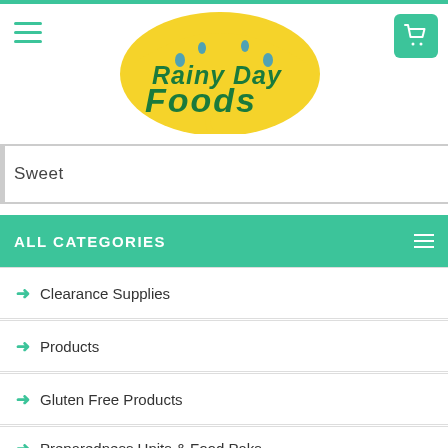[Figure (logo): Rainy Day Foods logo with yellow umbrella and green text]
Sweet
ALL CATEGORIES
Clearance Supplies
Products
Gluten Free Products
Preparedness Units & Food Paks